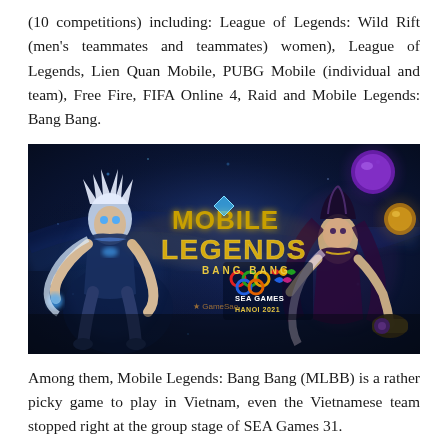(10 competitions) including: League of Legends: Wild Rift (men's teammates and teammates) women), League of Legends, Lien Quan Mobile, PUBG Mobile (individual and team), Free Fire, FIFA Online 4, Raid and Mobile Legends: Bang Bang.
[Figure (photo): Promotional image for Mobile Legends: Bang Bang at SEA Games 31 Hanoi 2021. Shows game characters against a dark blue fantasy background with the Mobile Legends Bang Bang logo and SEA Games Hanoi 2021 logo overlay. Watermark reads 'GameSao'.]
Among them, Mobile Legends: Bang Bang (MLBB) is a rather picky game to play in Vietnam, even the Vietnamese team stopped right at the group stage of SEA Games 31.